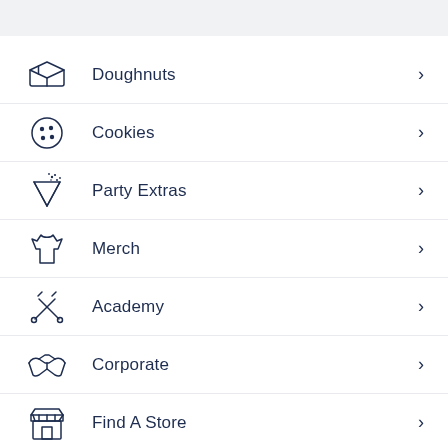Doughnuts
Cookies
Party Extras
Merch
Academy
Corporate
Find A Store